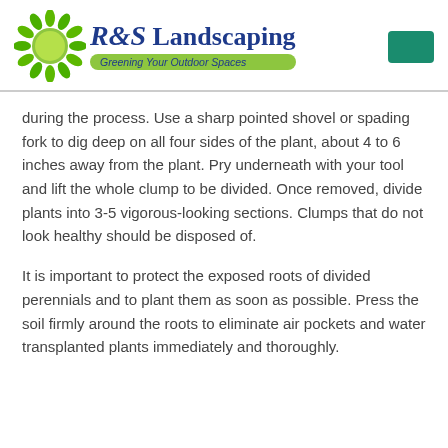R&S Landscaping — Greening Your Outdoor Spaces
during the process. Use a sharp pointed shovel or spading fork to dig deep on all four sides of the plant, about 4 to 6 inches away from the plant. Pry underneath with your tool and lift the whole clump to be divided. Once removed, divide plants into 3-5 vigorous-looking sections. Clumps that do not look healthy should be disposed of.
It is important to protect the exposed roots of divided perennials and to plant them as soon as possible. Press the soil firmly around the roots to eliminate air pockets and water transplanted plants immediately and thoroughly.